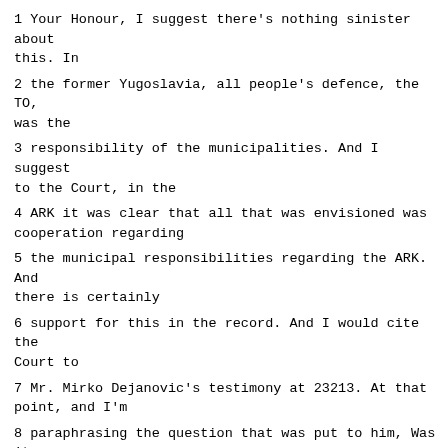1 Your Honour, I suggest there's nothing sinister about this. In
2 the former Yugoslavia, all people's defence, the TO, was the
3 responsibility of the municipalities. And I suggest to the Court, in the
4 ARK it was clear that all that was envisioned was cooperation regarding
5 the municipal responsibilities regarding the ARK. And there is certainly
6 support for this in the record. And I would cite the Court to
7 Mr. Mirko Dejanovic's testimony at 23213. At that point, and I'm
8 paraphrasing the question that was put to him, Was it unusual to have such
9 a provision in the ARK statute?
10 His answer: "This is not something unusual in our context. Even
11 a company would have the same provision in its statute at the time, that